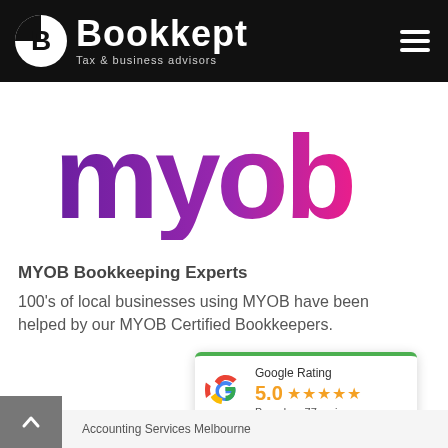[Figure (logo): Bookkept Tax & business advisors logo — white circular icon with B, white text 'Bookkept' and subtitle 'Tax & business advisors' on black header background, hamburger menu icon on right]
[Figure (logo): MYOB colorful logo — large stylized text in purple to pink gradient]
MYOB Bookkeeping Experts
100's of local businesses using MYOB have been helped by our MYOB Certified Bookkeepers.
[Figure (other): Google Rating card showing 5.0 stars based on 77 reviews with Google G logo]
Accounting Services Melbourne